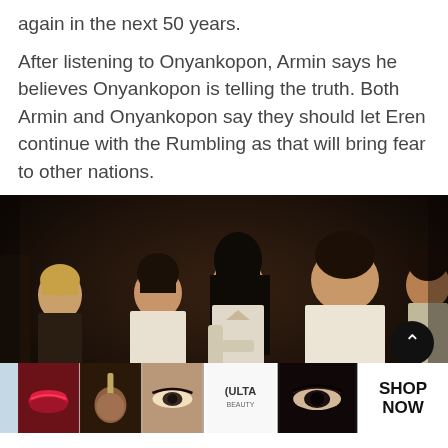again in the next 50 years.
After listening to Onyankopon, Armin says he believes Onyankopon is telling the truth. Both Armin and Onyankopon say they should let Eren continue with the Rumbling as that will bring fear to other nations.
[Figure (screenshot): Anime scene from Attack on Titan showing several characters from behind in a dimly lit room. A dark-haired character faces the viewer in the center while others stand with their backs turned.]
[Figure (photo): Ulta Beauty advertisement banner featuring makeup product close-up images including lipstick, brush, eyes, the Ulta logo, and eye makeup, with a SHOP NOW call to action.]